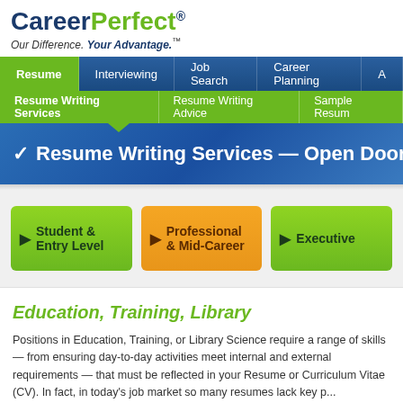[Figure (logo): CareerPerfect logo with tagline 'Our Difference. Your Advantage.']
Resume | Interviewing | Job Search | Career Planning | A...
Resume Writing Services | Resume Writing Advice | Sample Resum...
Resume Writing Services — Open Doors with a P...
[Figure (screenshot): Three service level buttons: Student & Entry Level (green), Professional & Mid-Career (orange), Executive (green)]
Education, Training, Library
Positions in Education, Training, or Library Science require a range of skills — from ensuring day-to-day activities meet internal and external requirements — that must be reflected in your Resume or Curriculum Vitae (CV). In fact, in today's job market so many resumes lack key p... candidates are overlooked.